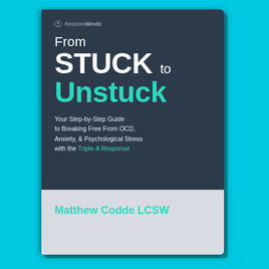[Figure (illustration): Book cover for 'From Stuck to Unstuck' by Matthew Codde LCSW, displayed as a 3D book on a cyan/turquoise background. The book has a dark navy upper section with the title and a light gray lower section with the author name. The title reads 'From Stuck to Unstuck' with 'Unstuck' in teal/mint color. Subtitle: 'Your Step-by-Step Guide to Breaking Free From OCD, Anxiety, & Psychological Stress with the Triple-A Response'. Publisher logo 'RestoredMinds' appears at the top.]